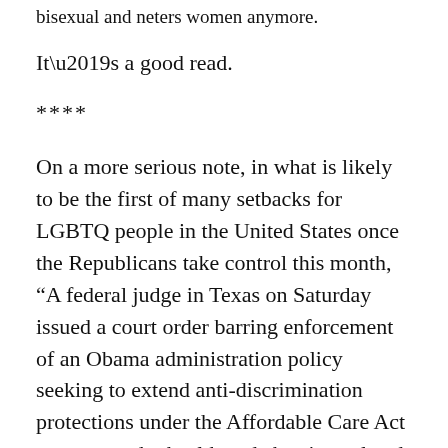bisexual and neters women anymore.
It’s a good read.
****
On a more serious note, in what is likely to be the first of many setbacks for LGBTQ people in the United States once the Republicans take control this month, “A federal judge in Texas on Saturday issued a court order barring enforcement of an Obama administration policy seeking to extend anti-discrimination protections under the Affordable Care Act to transgender health and abortion-related services,” Reuters is reporting.